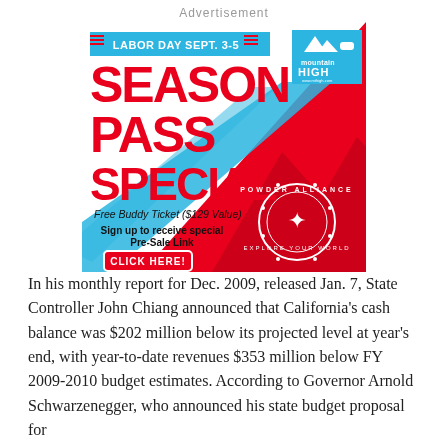Advertisement
[Figure (infographic): Mountain High ski resort advertisement for Labor Day Sept. 3-5 Season Pass Special with Free Buddy Ticket ($129 Value), Sign up to receive special Pre-Sale Link, Click Here button, Powder Alliance logo, and mountain graphic in red and blue.]
In his monthly report for Dec. 2009, released Jan. 7, State Controller John Chiang announced that California’s cash balance was $202 million below its projected level at year’s end, with year-to-date revenues $353 million below FY 2009-2010 budget estimates. According to Governor Arnold Schwarzenegger, who announced his state budget proposal for